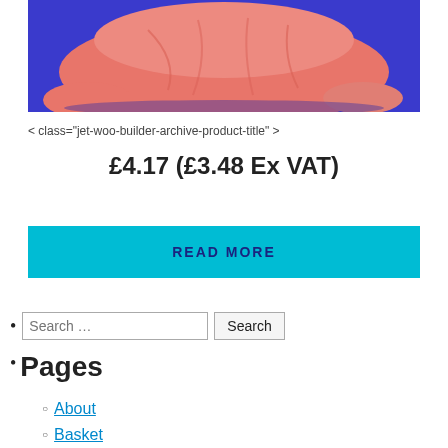[Figure (photo): A salmon/coral-colored pillow or cushion on a blue background, shown from above/front.]
< class="jet-woo-builder-archive-product-title" >
£4.17 (£3.48 Ex VAT)
READ MORE
Search ...  [Search button]
Pages
About
Basket